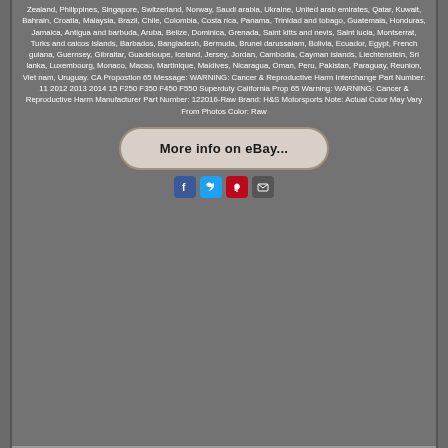Zealand, Philippines, Singapore, Switzerland, Norway, Saudi arabia, Ukraine, United arab emirates, Qatar, Kuwait, Bahrain, Croatia, Malaysia, Brazil, Chile, Colombia, Costa rica, Panama, Trinidad and tobago, Guatemala, Honduras, Jamaica, Antigua and barbuda, Aruba, Belize, Dominica, Grenada, Saint kitts and nevis, Saint lucia, Montserrat, Turks and caicos islands, Barbados, Bangladesh, Bermuda, Brunei darussalam, Bolivia, Ecuador, Egypt, French guiana, Guernsey, Gibraltar, Guadeloupe, Iceland, Jersey, Jordan, Cambodia, Cayman islands, Liechtenstein, Sri lanka, Luxembourg, Monaco, Macao, Martinique, Maldives, Nicaragua, Oman, Peru, Pakistan, Paraguay, Reunion, Viet nam, Uruguay. CA Propostion 65 Message: WARNING: Cancer & Reproductive Harm Interchange Part Number: 11 2012 2013 2014 15 F250 F350 F450 F550 Superduty California Prop 65 Warning: WARNING: Cancer & Reproductive Harm Manufacturer Part Number: 122016-Raw Brand: H&S Motorsports Note: Actual Color May Vary From Photos Color: Raw
[Figure (other): eBay button/link styled as a rounded rectangle with text 'More info on eBay...']
[Figure (infographic): Social media sharing icons: Facebook (blue), Twitter (light blue), Pinterest (red), Email (grey)]